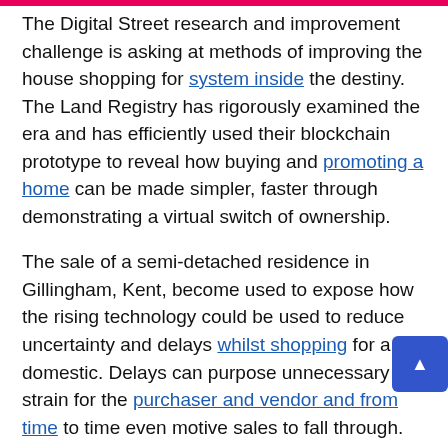The Digital Street research and improvement challenge is asking at methods of improving the house shopping for system inside the destiny. The Land Registry has rigorously examined the era and has efficiently used their blockchain prototype to reveal how buying and promoting a home can be made simpler, faster through demonstrating a virtual switch of ownership.
The sale of a semi-detached residence in Gillingham, Kent, become used to expose how the rising technology could be used to reduce uncertainty and delays whilst shopping for a domestic. Delays can purpose unnecessary strain for the purchaser and vendor and from time to time even motive sales to fall through. 'It become without a doubt trustworthy. It indicates how technology like this may help make the entirety a lot faster and you could see truly what's occurring at each degree. If